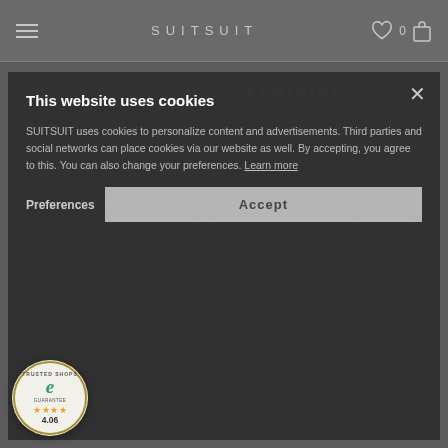SUITSUIT
PROFOUNDLY FEMININE
With my renewed focus on women came the responsibility to keep up with their changing needs and desires. It was no longer about the hottest trends and the hippest colours, I had to understand how they travelled to be able to develop products from a woman's point of view. This recognised her desire for style inspiration, memories and the desire to feel good, along with her desire for practically designed products that fit the context they are in. As soon as I launched my renewed products, women all over the world were attracted to them. Young women even turned them into Instagrammable fashion items and seemed to carry them with pride.
This website uses cookies
SUITSUIT uses cookies to personalize content and advertisements. Third parties and social networks can place cookies via our website as well. By accepting, you agree to this. You can also change your preferences. Learn more
Preferences
Accept
[Figure (logo): Trusted Shops guarantee badge with 4.06 rating and 4 stars]